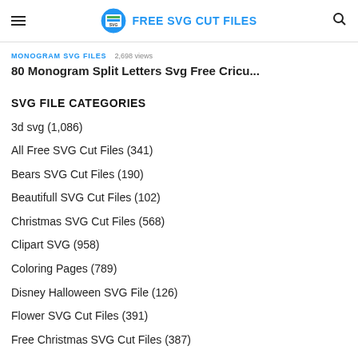FREE SVG CUT FILES
MONOGRAM SVG FILES  2,698 views
80 Monogram Split Letters Svg Free Cricu...
SVG FILE CATEGORIES
3d svg (1,086)
All Free SVG Cut Files (341)
Bears SVG Cut Files (190)
Beautifull SVG Cut Files (102)
Christmas SVG Cut Files (568)
Clipart SVG (958)
Coloring Pages (789)
Disney Halloween SVG File (126)
Flower SVG Cut Files (391)
Free Christmas SVG Cut Files (387)